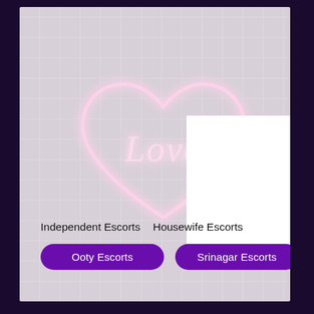[Figure (illustration): Neon pink glowing heart outline with cursive 'Love' text inside, on a grey tiled background]
Independent Escorts    Housewife Escorts
Ooty Escorts
Srinagar Escorts